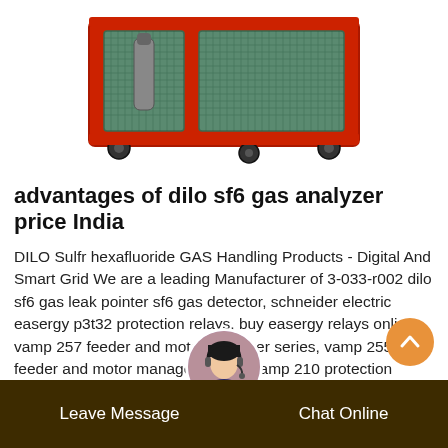[Figure (photo): Photo of a red-framed industrial gas handling equipment unit with green mesh panels and caster wheels, shown from a slight angle.]
advantages of dilo sf6 gas analyzer price India
DILO Sulfr hexafluoride GAS Handling Products - Digital And Smart Grid We are a leading Manufacturer of 3-033-r002 dilo sf6 gas leak pointer sf6 gas detector, schneider electric easergy p3t32 protection relays, buy easergy relays online, vamp 257 feeder and motor manager series, vamp 255 feeder and motor manager series, vamp 210 protection relays and sepam60 protection relays from Navi Mumbai, India.
[Figure (photo): Circular avatar photo of a woman with headset, customer service representative.]
Leave Message    Chat Online